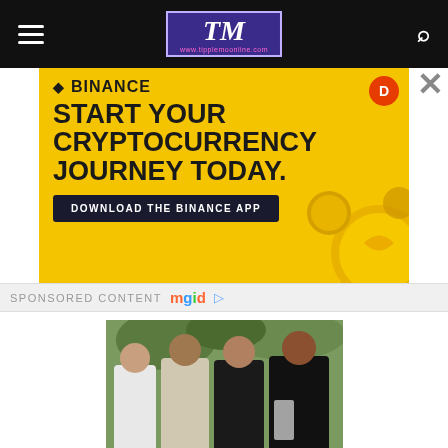TM (tipplemoonline.com) navigation bar with hamburger menu and search icon
[Figure (screenshot): Binance advertisement banner: yellow background with text 'START YOUR CRYPTOCURRENCY JOURNEY TODAY.' and button 'DOWNLOAD THE BINANCE APP', with coin decorations]
SPONSORED CONTENT mgid
[Figure (photo): Photo of four people (family group, appears to be Obama family) posing together outdoors]
'First Daughters': From Cute Little Kids To Beautiful Young Women